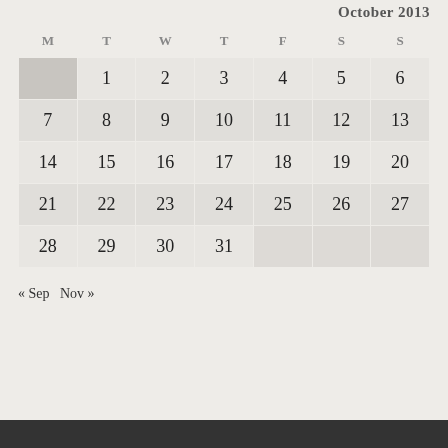October 2013
| M | T | W | T | F | S | S |
| --- | --- | --- | --- | --- | --- | --- |
|  | 1 | 2 | 3 | 4 | 5 | 6 |
| 7 | 8 | 9 | 10 | 11 | 12 | 13 |
| 14 | 15 | 16 | 17 | 18 | 19 | 20 |
| 21 | 22 | 23 | 24 | 25 | 26 | 27 |
| 28 | 29 | 30 | 31 |  |  |  |
« Sep   Nov »